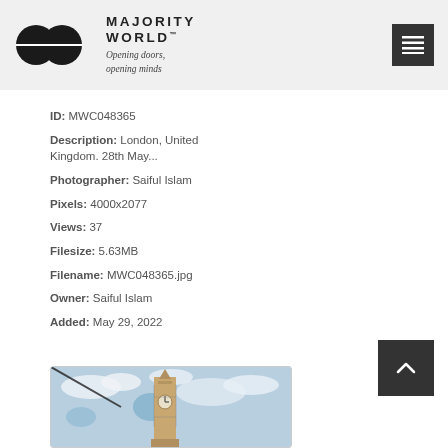[Figure (logo): Majority World logo with two overlapping circles and text 'MAJORITY WORLD™ Opening doors, opening minds']
ID: MWC048365
Description: London, United Kingdom. 28th May...
Photographer: Saiful Islam
Pixels: 4000x2077
Views: 37
Filesize: 5.63MB
Filename: MWC048365.jpg
Owner: Saiful Islam
Added: May 29, 2022
[Figure (photo): Photo of Big Ben clock tower in London against a cloudy sky]